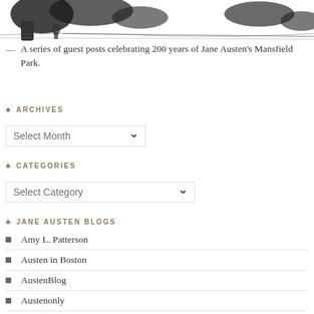[Figure (illustration): Black and white ink illustration of a landscape scene with trees and figures, partial view at top of page]
— A series of guest posts celebrating 200 years of Jane Austen's Mansfield Park.
ARCHIVES
Select Month (dropdown)
CATEGORIES
Select Category (dropdown)
JANE AUSTEN BLOGS
Amy L. Patterson
Austen in Boston
AustenBlog
Austenonly
Austenprose
Deborah Yaffe